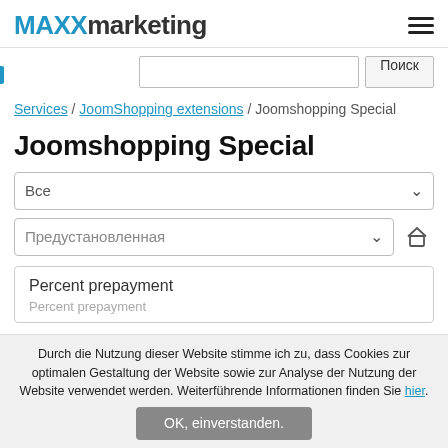MAXXmarketing
Поиск
Services / JoomShopping extensions / Joomshopping Special
Joomshopping Special
Все
Предустановленная
Percent prepayment
Durch die Nutzung dieser Website stimme ich zu, dass Cookies zur optimalen Gestaltung der Website sowie zur Analyse der Nutzung der Website verwendet werden. Weiterführende Informationen finden Sie hier.
OK, einverstanden.